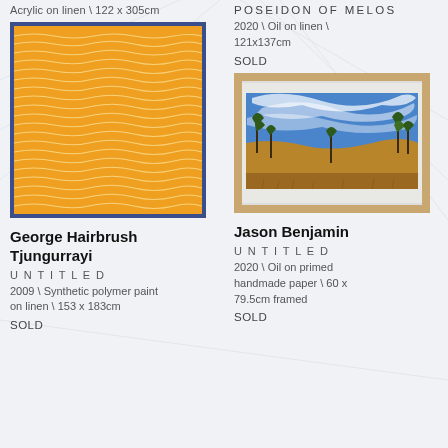Acrylic on linen \ 122 x 305cm
POSEIDON OF MELOS
2020 \ Oil on linen \ 121x137cm
SOLD
[Figure (photo): Abstract orange painting with wavy cream lines on orange background, in dark blue frame]
[Figure (photo): Australian landscape painting showing eucalyptus trees under dramatic blue sky with wispy clouds, in wooden frame]
George Hairbrush Tjungurrayi
Jason Benjamin
UNTITLED
2009 \ Synthetic polymer paint on linen \ 153 x 183cm
SOLD
UNTITLED
2020 \ Oil on primed handmade paper \ 60 x 79.5cm framed
SOLD